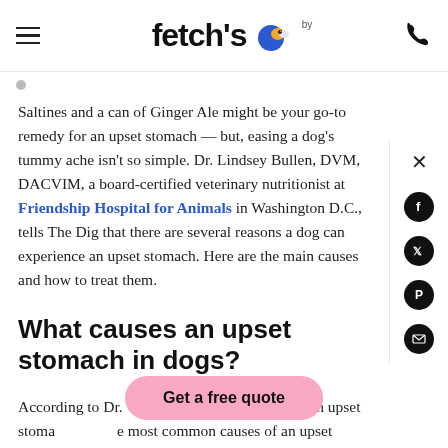fetch's [logo with bird icon] [hamburger menu] [phone icon]
Saltines and a can of Ginger Ale might be your go-to remedy for an upset stomach — but, easing a dog's tummy ache isn't so simple. Dr. Lindsey Bullen, DVM, DACVIM, a board-certified veterinary nutritionist at Friendship Hospital for Animals in Washington D.C., tells The Dig that there are several reasons a dog can experience an upset stomach. Here are the main causes and how to treat them.
What causes an upset stomach in dogs?
According to Dr. [Get a free quote button overlay] ing" can cause an upset stoma... e most common causes of an upset stomach include: